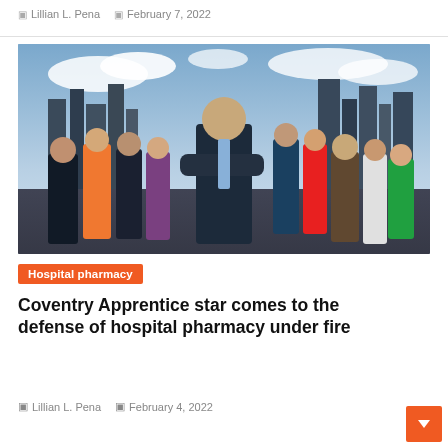Lillian L. Pena   February 7, 2022
[Figure (photo): Group photo of The Apprentice TV show cast with Lord Sugar standing in the center with arms crossed, set against a London skyline background.]
Hospital pharmacy
Coventry Apprentice star comes to the defense of hospital pharmacy under fire
Lillian L. Pena   February 4, 2022